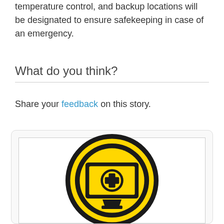temperature control, and backup locations will be designated to ensure safekeeping in case of an emergency.
What do you think?
Share your feedback on this story.
[Figure (logo): Yellow and black circular medical telemedicine icon featuring a computer monitor with a medical cross symbol inside a circle, on a white background inside a rounded card frame.]